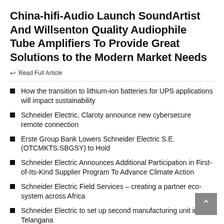China-hifi-Audio Launch SoundArtist And Willsenton Quality Audiophile Tube Amplifiers To Provide Great Solutions to the Modern Market Needs
Read Full Article
How the transition to lithium-ion batteries for UPS applications will impact sustainability
Schneider Electric, Claroty announce new cybersecure remote connection
Erste Group Bank Lowers Schneider Electric S.E. (OTCMKTS:SBGSY) to Hold
Schneider Electric Announces Additional Participation in First-of-Its-Kind Supplier Program To Advance Climate Action
Schneider Electric Field Services – creating a partner eco-system across Africa
Schneider Electric to set up second manufacturing unit in Telangana
Schneider Electric Fashions from its sites in Malaysia, Mexico...